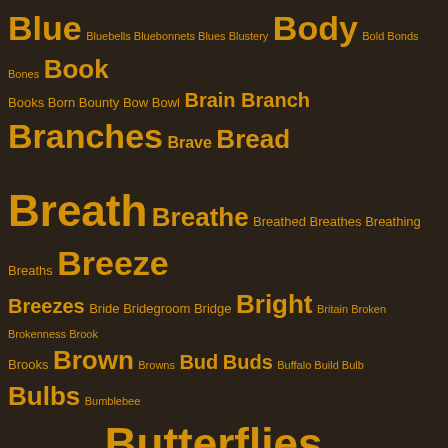[Figure (other): Word cloud / tag cloud with words of varying sizes in golden/amber color on dark brown background. Words include Blue, Body, Book, Books, Branches, Bread, Breath, Breathe, Breeze, Bright, Brown, Buds, Bulbs, Butterflies, Butterfly, Camera, Cats, Celebrate, Child, Children, Childhood, Christ, Christmas, Church, Circle, Cloud, Clouds, Cold, Color, Colors, Comfort, Compassion, and many more smaller words.]